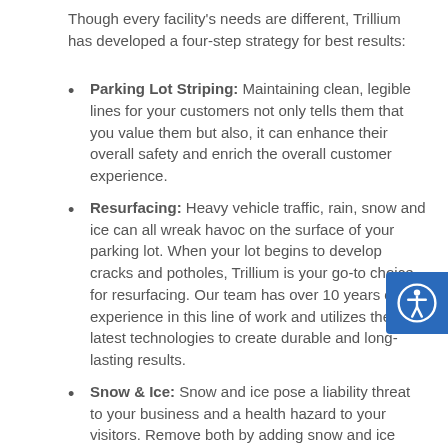Though every facility's needs are different, Trillium has developed a four-step strategy for best results:
Parking Lot Striping: Maintaining clean, legible lines for your customers not only tells them that you value them but also, it can enhance their overall safety and enrich the overall customer experience.
Resurfacing: Heavy vehicle traffic, rain, snow and ice can all wreak havoc on the surface of your parking lot. When your lot begins to develop cracks and potholes, Trillium is your go-to choice for resurfacing. Our team has over 10 years of experience in this line of work and utilizes the latest technologies to create durable and long-lasting results.
Snow & Ice: Snow and ice pose a liability threat to your business and a health hazard to your visitors. Remove both by adding snow and ice removal and prevention to your list of managed services.
Repairs: Minor cracks and potholes do not necessarily mean that your parking lot needs to undergo a complete resurfacing. Our network of providers includes a host of talented individuals who have the capacity and